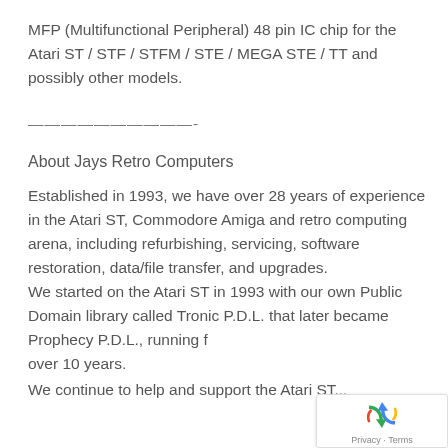MFP (Multifunctional Peripheral) 48 pin IC chip for the Atari ST / STF / STFM / STE / MEGA STE / TT and possibly other models.
——————————-
About Jays Retro Computers
Established in 1993, we have over 28 years of experience in the Atari ST, Commodore Amiga and retro computing arena, including refurbishing, servicing, software restoration, data/file transfer, and upgrades.
We started on the Atari ST in 1993 with our own Public Domain library called Tronic P.D.L. that later became Prophecy P.D.L., running for over 10 years.
We continue to help and support the Atari ST...